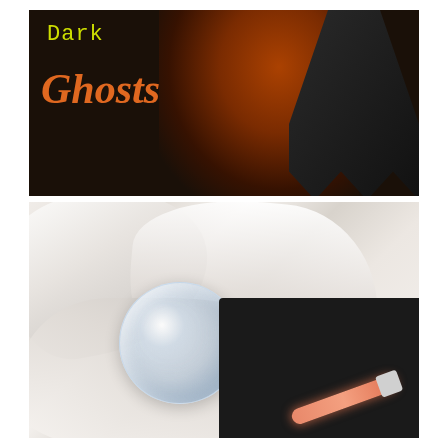[Figure (photo): Dark ghost Halloween image with orange/amber glowing ghost figure against dark background, text reading 'Dark' in yellow-green and 'Ghosts' in orange italic serif font]
[Figure (photo): Craft project photo showing white cheesecloth/gauze fabric draped over a clear plastic ornament ball, with a pink glow stick and black surface visible, materials for making glow-in-the-dark ghosts]